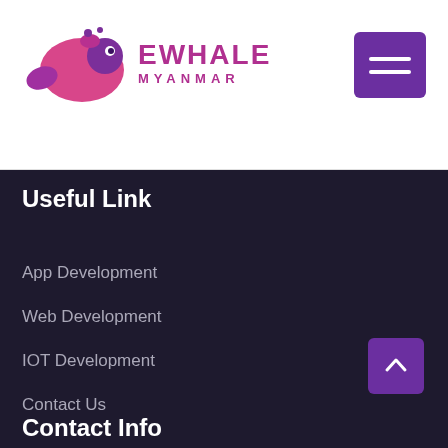[Figure (logo): Ewhale Myanmar logo: stylized pink/purple whale graphic with text EWHALE MYANMAR]
[Figure (other): Purple hamburger menu button with three white horizontal lines]
Useful Link
App Development
Web Development
IOT Development
Contact Us
Sitemap
[Figure (other): Purple back-to-top button with upward chevron arrow]
Contact Info